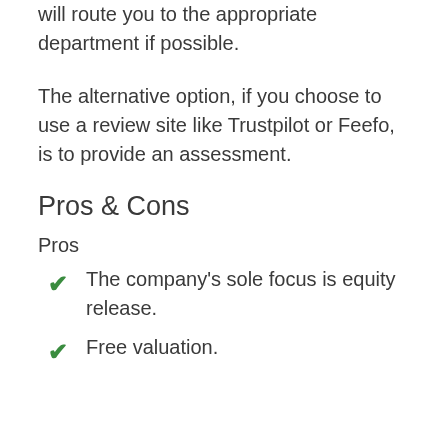will route you to the appropriate department if possible.
The alternative option, if you choose to use a review site like Trustpilot or Feefo, is to provide an assessment.
Pros & Cons
Pros
The company's sole focus is equity release.
Free valuation.